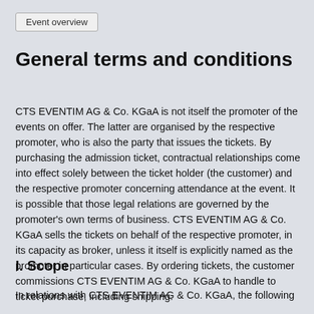Event overview
General terms and conditions
CTS EVENTIM AG & Co. KGaA is not itself the promoter of the events on offer. The latter are organised by the respective promoter, who is also the party that issues the tickets. By purchasing the admission ticket, contractual relationships come into effect solely between the ticket holder (the customer) and the respective promoter concerning attendance at the event. It is possible that those legal relations are governed by the promoter's own terms of business. CTS EVENTIM AG & Co. KGaA sells the tickets on behalf of the respective promoter, in its capacity as broker, unless it itself is explicitly named as the promoter in particular cases. By ordering tickets, the customer commissions CTS EVENTIM AG & Co. KGaA to handle to ticket purchase, including shipping.
I. Scope
In relations with CTS EVENTIM AG & Co. KGaA, the following